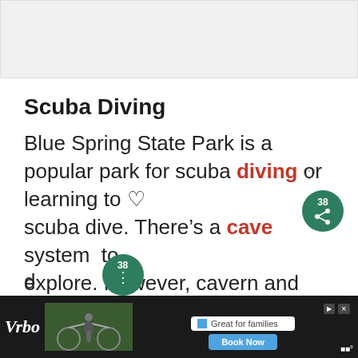[Figure (photo): Gray placeholder image area at top of page]
Scuba Diving
Blue Spring State Park is a popular park for scuba diving or learning to scuba dive. There's a cave system to explore. However, cavern and cave diving are available only to certified cave divers. It's very common to see
[Figure (screenshot): UI overlay: heart icon, share badge with number 38, What's Next widget showing Silver Glen Springs]
[Figure (screenshot): Vrbo advertisement banner at bottom with cycling image and Book Now button]